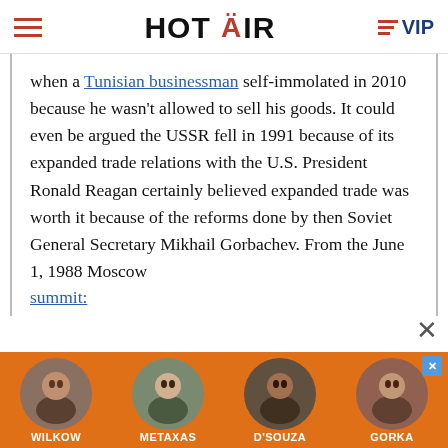HOT AIR  VIP
when a Tunisian businessman self-immolated in 2010 because he wasn't allowed to sell his goods. It could even be argued the USSR fell in 1991 because of its expanded trade relations with the U.S. President Ronald Reagan certainly believed expanded trade was worth it because of the reforms done by then Soviet General Secretary Mikhail Gorbachev. From the June 1, 1988 Moscow summit:
[Figure (photo): Advertisement banner featuring four political commentators: Wilkow, Metaxas, D'Souza, Gorka on an orange background]